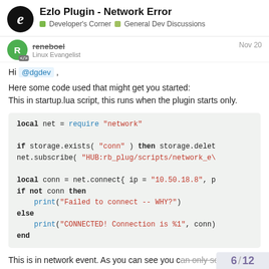Ezlo Plugin - Network Error | Developer's Corner > General Dev Discussions
reneboel
Linux Evangelist
Nov 20
Hi @dgdev ,
Here some code used that might get you started:
This in startup.lua script, this runs when the plugin starts only.
[Figure (screenshot): Lua code block showing local net = require "network", if storage.exists( "conn" ) then storage.delete..., net.subscribe( "HUB:rb_plug/scripts/network_e...", local conn = net.connect{ ip = "10.50.18.8", p..., if not conn then, print("Failed to connect -- WHY?"), else, print("CONNECTED! Connection is %1", conn), end]
This is in network event. As you can see you can only send data when the CONNECTED event is ready.
6 / 12